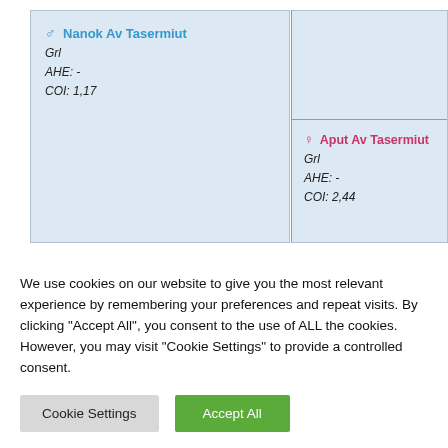[Figure (other): Pedigree chart showing two dogs: male Nanok Av Tasermiut (Grl, AHE: -, COI: 1,17) on the left panel and female Aput Av Tasermiut (Grl, AHE: -, COI: 2,44) on the lower right panel, with a horizontal divider line in the right panel.]
We use cookies on our website to give you the most relevant experience by remembering your preferences and repeat visits. By clicking "Accept All", you consent to the use of ALL the cookies. However, you may visit "Cookie Settings" to provide a controlled consent.